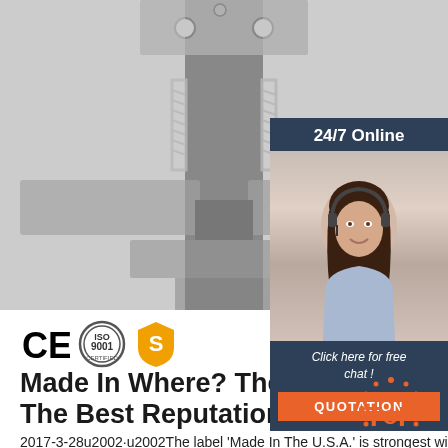[Figure (photo): Close-up photo of industrial mechanical equipment, gray metal frame with springs, bolts, and structural components]
[Figure (photo): 24/7 Online customer service agent sidebar: dark navy background, smiling woman with headset, 'Click here for free chat!' text, and orange QUOTATION button]
[Figure (logo): CE mark certification logo]
[Figure (logo): ISO 9001 certification badge]
[Figure (logo): Orange shield shop badge with letter S]
Made In Where? The Countries With The Best Reputations
2017-3-28u2002·u2002The label 'Made In The U.S.A.' is strongest within the United States and in a number of South American countries, India and the Philippines; ranking #1 in 8 ...
[Figure (logo): TOP badge with dot pattern]